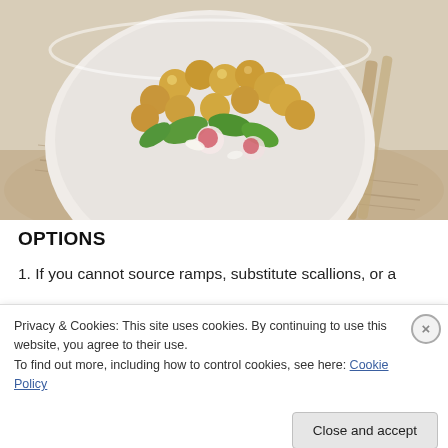[Figure (photo): A white bowl filled with chickpea and vegetable salad including green leaves, radish slices, on a beige linen napkin, photographed from above and slightly to the side.]
OPTIONS
1. If you cannot source ramps, substitute scallions, or a
Privacy & Cookies: This site uses cookies. By continuing to use this website, you agree to their use.
To find out more, including how to control cookies, see here: Cookie Policy
Close and accept